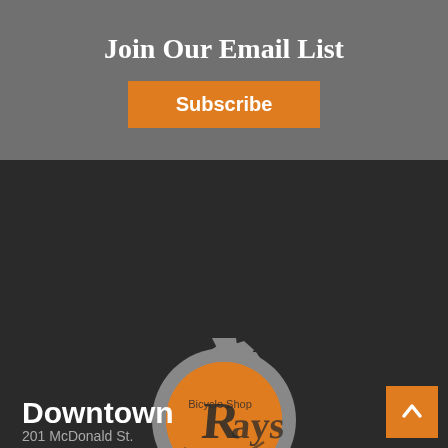Join Our Email List
Subscribe
[Figure (logo): Ray's Bicycle Shop logo — gear/sprocket shape in gray with an orange circular center and stylized 'Rays' script text with 'Bicycle Shop' above]
Downtown
201 McDonald St.